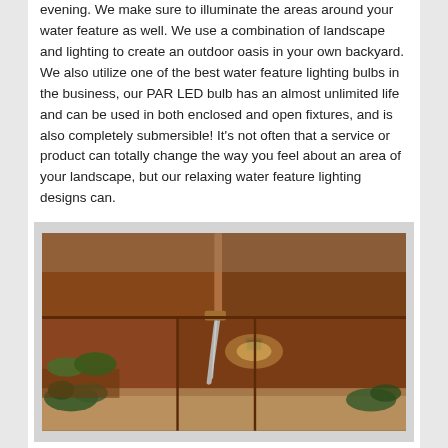evening. We make sure to illuminate the areas around your water feature as well. We use a combination of landscape and lighting to create an outdoor oasis in your own backyard. We also utilize one of the best water feature lighting bulbs in the business, our PAR LED bulb has an almost unlimited life and can be used in both enclosed and open fixtures, and is also completely submersible! It's not often that a service or product can totally change the way you feel about an area of your landscape, but our relaxing water feature lighting designs can.
[Figure (photo): A modern water feature with Corten steel panels. A spout of water flows from a copper nozzle into a pool below. A warm-toned LED light fixture is mounted on the steel wall, illuminating the water cascade. Green plants are visible at the base and left side.]